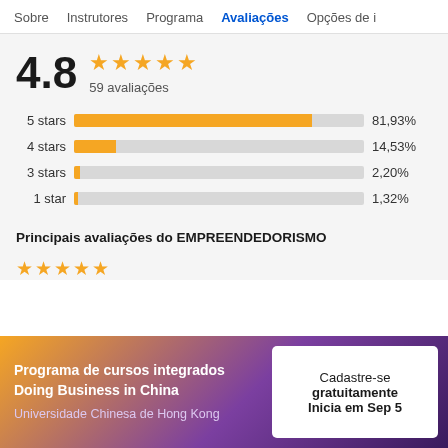Sobre   Instrutores   Programa   Avaliações   Opções de i
4.8 ★★★★★ 59 avaliações
[Figure (bar-chart): Rating distribution]
Principais avaliações do EMPREENDEDORISMO
Programa de cursos integrados Doing Business in China
Universidade Chinesa de Hong Kong
Cadastre-se gratuitamente
Inicia em Sep 5